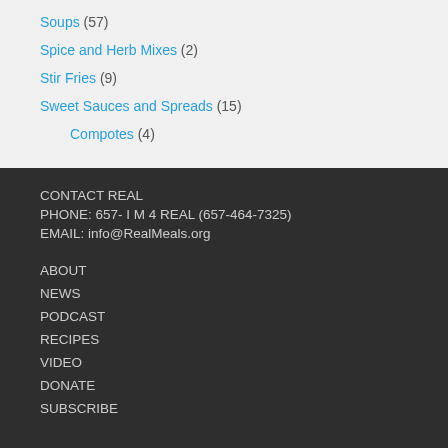Soups (57)
Spice and Herb Mixes (2)
Stir Fries (9)
Sweet Sauces and Spreads (15)
Compotes (4)
CONTACT REAL
PHONE: 657- I M 4 REAL (657-464-7325)
EMAIL: info@RealMeals.org
ABOUT
NEWS
PODCAST
RECIPES
VIDEO
DONATE
SUBSCRIBE